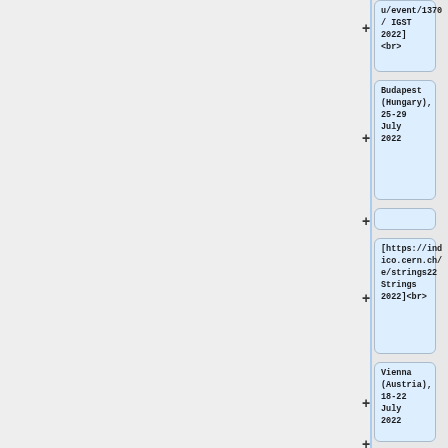u/event/1370/ IGST 2022]<br>
Budapest (Hungary), 25-29 July 2022
[https://indico.cern.ch/e/strings22 Strings 2022]<br>
Vienna (Austria), 18-22 July 2022